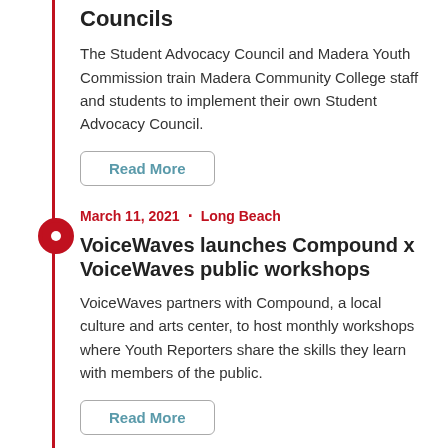Councils
The Student Advocacy Council and Madera Youth Commission train Madera Community College staff and students to implement their own Student Advocacy Council.
Read More
March 11, 2021  ·  Long Beach
VoiceWaves launches Compound x VoiceWaves public workshops
VoiceWaves partners with Compound, a local culture and arts center, to host monthly workshops where Youth Reporters share the skills they learn with members of the public.
Read More